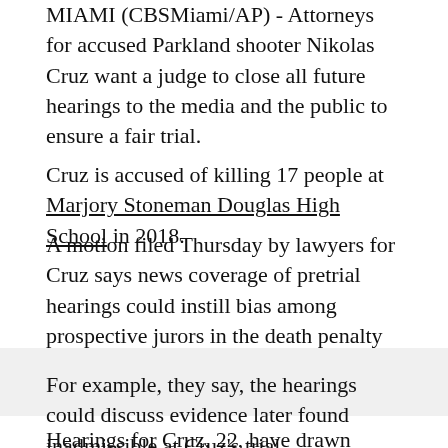MIAMI (CBSMiami/AP) - Attorneys for accused Parkland shooter Nikolas Cruz want a judge to close all future hearings to the media and the public to ensure a fair trial.
Cruz is accused of killing 17 people at Marjory Stoneman Douglas High School in 2018.
A motion filed Thursday by lawyers for Cruz says news coverage of pretrial hearings could instill bias among prospective jurors in the death penalty case.
For example, they say, the hearings could discuss evidence later found inadmissible at Cruz's trial.
Hearings for Cruz, 22, have drawn extensive news